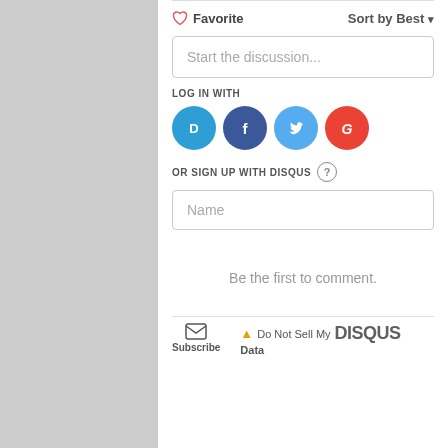♡ Favorite    Sort by Best ▾
Start the discussion...
LOG IN WITH
[Figure (illustration): Four social login icons: Disqus (blue speech bubble with D), Facebook (dark blue circle with F), Twitter (light blue circle with bird), Google (red circle with G)]
OR SIGN UP WITH DISQUS ?
Name
Be the first to comment.
Subscribe    ⚠ Do Not Sell My DISQUS Data